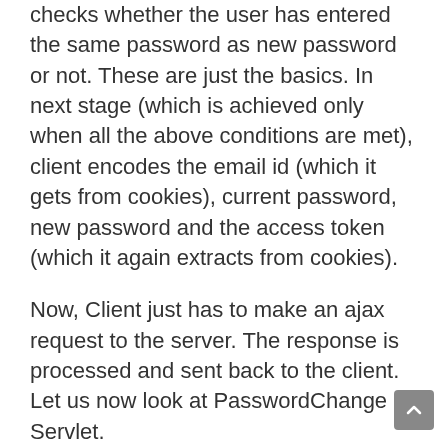checks whether the user has entered the same password as new password or not. These are just the basics. In next stage (which is achieved only when all the above conditions are met), client encodes the email id (which it gets from cookies), current password, new password and the access token (which it again extracts from cookies).
Now, Client just has to make an ajax request to the server. The response is processed and sent back to the client. Let us now look at PasswordChange Servlet.
The base user role is defined as USER. Initial steps of the servlet are to extract